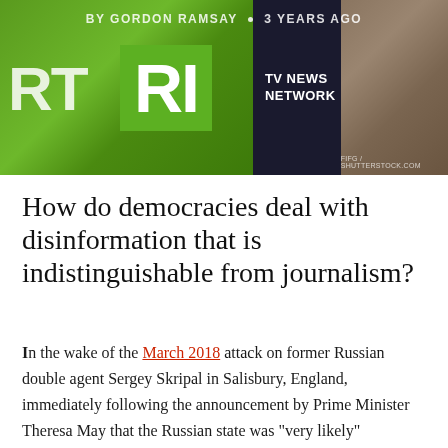[Figure (photo): Banner image showing RT (Russia Today) television network logos on green and white backgrounds, with a TV News Network sign and a crowd scene on the right side. Byline overlay reads 'BY GORDON RAMSAY • 3 YEARS AGO'. Shutterstock watermark visible.]
How do democracies deal with disinformation that is indistinguishable from journalism?
In the wake of the March 2018 attack on former Russian double agent Sergey Skripal in Salisbury, England, immediately following the announcement by Prime Minister Theresa May that the Russian state was "very likely" responsible for the attack and that the nerve agent Novichok had been used, readers of Russia's main English-language news outlet, RT, and Sputnik